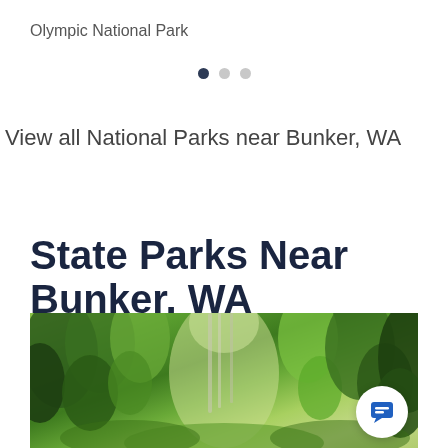Olympic National Park
[Figure (other): Pagination dots: one filled dark dot and two light gray dots indicating carousel position]
View all National Parks near Bunker, WA
State Parks Near Bunker, WA
[Figure (photo): A forested trail path lined with lush green trees forming a canopy, photographed during spring or summer. A circular chat button is overlaid in the lower right corner.]